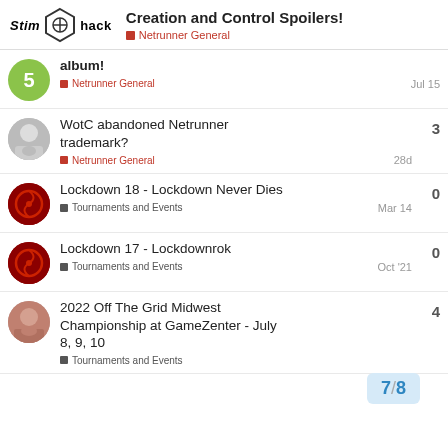Stim hack | Creation and Control Spoilers! | Netrunner General
album! | Netrunner General | Jul 15
WotC abandoned Netrunner trademark? | Netrunner General | 28d | replies: 3
Lockdown 18 - Lockdown Never Dies | Tournaments and Events | Mar 14 | replies: 0
Lockdown 17 - Lockdownrok | Tournaments and Events | Oct '21 | replies: 0
2022 Off The Grid Midwest Championship at GameZenter - July 8, 9, 10 | Tournaments and Events | replies: 4
7/8